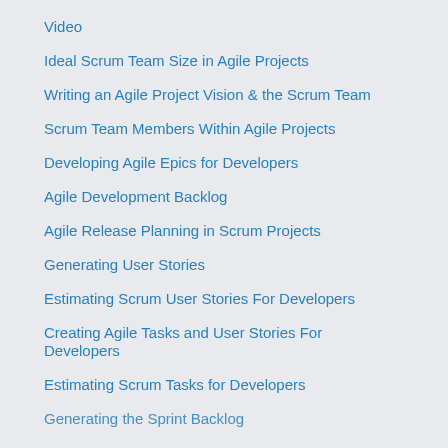Video
Ideal Scrum Team Size in Agile Projects
Writing an Agile Project Vision & the Scrum Team
Scrum Team Members Within Agile Projects
Developing Agile Epics for Developers
Agile Development Backlog
Agile Release Planning in Scrum Projects
Generating User Stories
Estimating Scrum User Stories For Developers
Creating Agile Tasks and User Stories For Developers
Estimating Scrum Tasks for Developers
Generating the Sprint Backlog